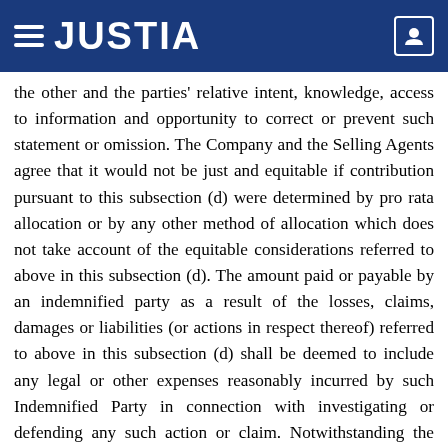JUSTIA
the other and the parties' relative intent, knowledge, access to information and opportunity to correct or prevent such statement or omission. The Company and the Selling Agents agree that it would not be just and equitable if contribution pursuant to this subsection (d) were determined by pro rata allocation or by any other method of allocation which does not take account of the equitable considerations referred to above in this subsection (d). The amount paid or payable by an indemnified party as a result of the losses, claims, damages or liabilities (or actions in respect thereof) referred to above in this subsection (d) shall be deemed to include any legal or other expenses reasonably incurred by such Indemnified Party in connection with investigating or defending any such action or claim. Notwithstanding the provisions of this subsection (d), no Selling Agent will be required to contribute any amount